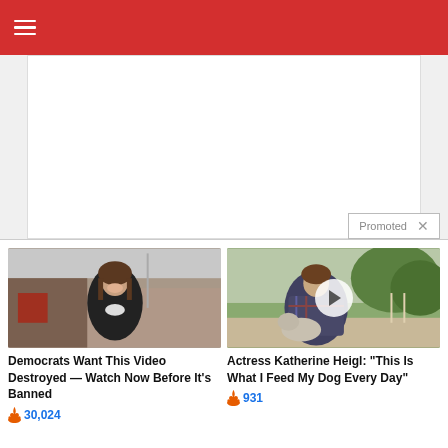Navigation menu header bar
[Figure (other): Advertisement placeholder area with white background, light border, and a 'Promoted X' label at the bottom right]
[Figure (photo): A smiling woman in a dark jacket standing outdoors in front of industrial buildings]
Democrats Want This Video Destroyed — Watch Now Before It's Banned
🔥 30,024
[Figure (photo): A woman sitting outdoors holding a dog, with a video play button overlay, trees and a dirt road in the background]
Actress Katherine Heigl: "This Is What I Feed My Dog Every Day"
🔥 931